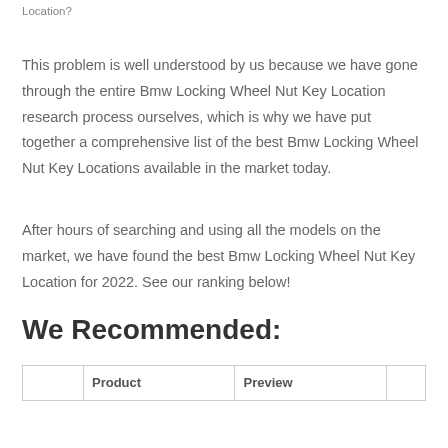Location?
This problem is well understood by us because we have gone through the entire Bmw Locking Wheel Nut Key Location research process ourselves, which is why we have put together a comprehensive list of the best Bmw Locking Wheel Nut Key Locations available in the market today.
After hours of searching and using all the models on the market, we have found the best Bmw Locking Wheel Nut Key Location for 2022. See our ranking below!
We Recommended:
|  | Product | Preview |  |
| --- | --- | --- | --- |